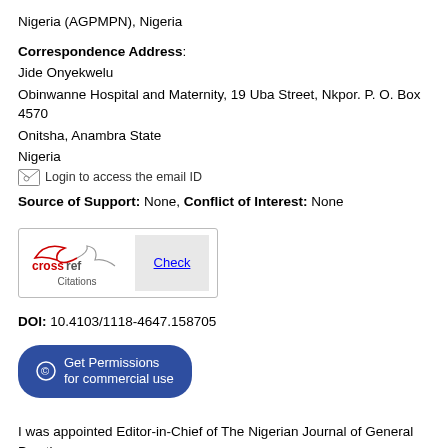Nigeria (AGPMPN), Nigeria
Correspondence Address:
Jide Onyekwelu
Obinwanne Hospital and Maternity, 19 Uba Street, Nkpor. P. O. Box 4570
Onitsha, Anambra State
Nigeria
Login to access the email ID
Source of Support: None, Conflict of Interest: None
[Figure (logo): CrossRef Citations logo with Check button]
DOI: 10.4103/1118-4647.158705
Get Permissions for commercial use
I was appointed Editor-in-Chief of The Nigerian Journal of General Practice